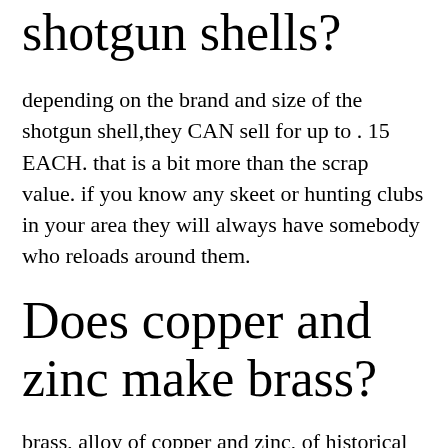shotgun shells?
depending on the brand and size of the shotgun shell,they CAN sell for up to . 15 EACH. that is a bit more than the scrap value. if you know any skeet or hunting clubs in your area they will always have somebody who reloads around them.
Does copper and zinc make brass?
brass, alloy of copper and zinc, of historical and enduring importance because of its hardness and